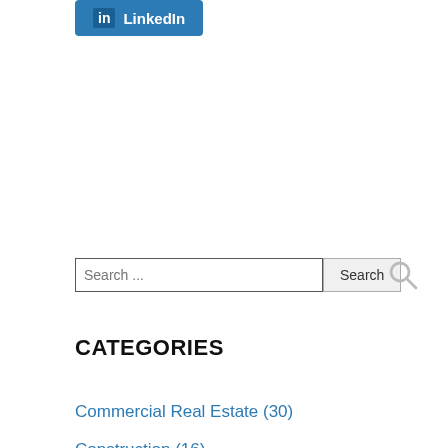[Figure (logo): LinkedIn share button with 'in' icon and 'LinkedIn' text on blue background]
[Figure (screenshot): Search input field with placeholder 'Search ...' and a 'Search' button]
CATEGORIES
Commercial Real Estate (30)
Construction (16)
Landlord/Tenant Matters (114)
New York City Real Estate Law Blog (13)
Real Estate Disputes (10)
Real Estate Disputes (83)
Real Estate Transactions (79)
Residential Real Estate (47)